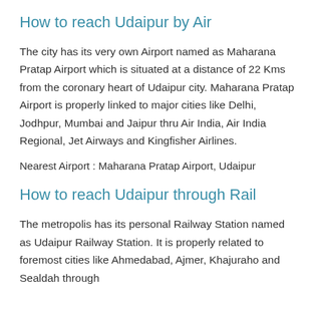How to reach Udaipur by Air
The city has its very own Airport named as Maharana Pratap Airport which is situated at a distance of 22 Kms from the coronary heart of Udaipur city. Maharana Pratap Airport is properly linked to major cities like Delhi, Jodhpur, Mumbai and Jaipur thru Air India, Air India Regional, Jet Airways and Kingfisher Airlines.
Nearest Airport : Maharana Pratap Airport, Udaipur
How to reach Udaipur through Rail
The metropolis has its personal Railway Station named as Udaipur Railway Station. It is properly related to foremost cities like Ahmedabad, Ajmer, Khajuraho and Sealdah through